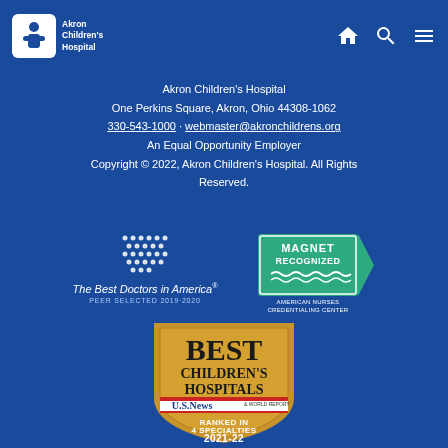[Figure (logo): Akron Children's Hospital logo with icon and navigation icons (home, search, menu)]
Akron Children's Hospital
One Perkins Square, Akron, Ohio 44308-1062
330-543-1000 · webmaster@akronchildrens.org
An Equal Opportunity Employer
Copyright © 2022, Akron Children's Hospital. All Rights Reserved.
[Figure (logo): The Best Doctors in America Peer Selected 2019-2020 badge]
[Figure (logo): Magnet Recognized American Nurses Credentialing Center badge]
[Figure (logo): Best Children's Hospitals US News Ranked in 4 Specialties 2021-22 badge]